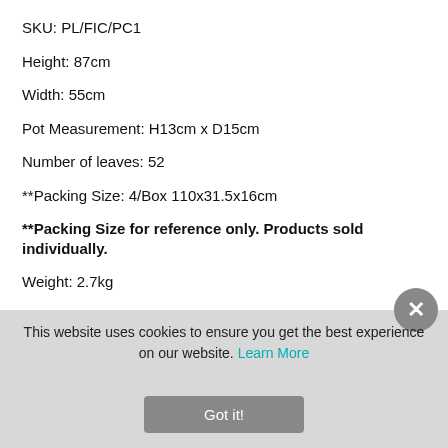SKU: PL/FIC/PC1
Height: 87cm
Width: 55cm
Pot Measurement: H13cm x D15cm
Number of leaves: 52
**Packing Size: 4/Box 110x31.5x16cm
**Packing Size for reference only. Products sold individually.
Weight: 2.7kg
Indoor / Outdoor: Indoor
This website uses cookies to ensure you get the best experience on our website. Learn More
Got it!